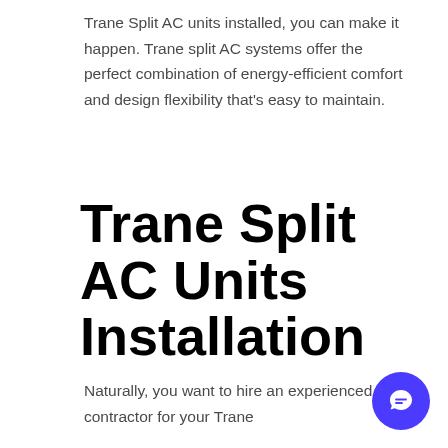Trane Split AC units installed, you can make it happen. Trane split AC systems offer the perfect combination of energy-efficient comfort and design flexibility that's easy to maintain.
Trane Split AC Units Installation
Naturally, you want to hire an experienced contractor for your Trane
[Figure (other): Blue circular chat button icon with speech bubble in bottom right corner]